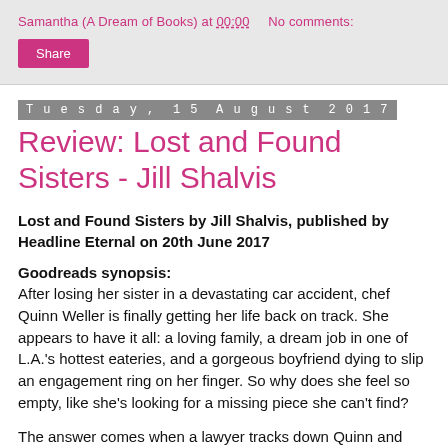Samantha (A Dream of Books) at 00:00    No comments:
Share
Tuesday, 15 August 2017
Review: Lost and Found Sisters - Jill Shalvis
Lost and Found Sisters by Jill Shalvis, published by Headline Eternal on 20th June 2017
Goodreads synopsis:
After losing her sister in a devastating car accident, chef Quinn Weller is finally getting her life back on track. She appears to have it all: a loving family, a dream job in one of L.A.'s hottest eateries, and a gorgeous boyfriend dying to slip an engagement ring on her finger. So why does she feel so empty, like she's looking for a missing piece she can't find?
The answer comes when a lawyer tracks down Quinn and